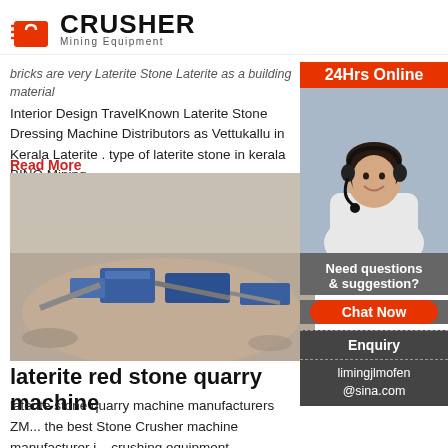[Figure (logo): Crusher Mining Equipment logo with red shopping bag icon and bold CRUSHER text]
bricks are very Laterite Stone Laterite as a building material Interior Design TravelKnown Laterite Stone Dressing Machine Distributors as Vettukallu in Kerala Laterite . type of laterite stone in kerala BINQ Mining
Read More
[Figure (photo): Aerial view of a stone quarry with blue crushing machinery on sandy ground]
laterite red stone quarry machine
laterite stone quarry machine manufacturers ZM... the best Stone Crusher machine manufacturer i... crushing equipment manufacturer stone . laterit... dressing machine distributors. laterite stone dre... machine distributors. As a leading global manuf... crushing, grinding and mining equipments, we o...
[Figure (infographic): 24Hrs Online sidebar with customer service representative photo, Need questions & suggestion? text, Chat Now button, Enquiry button, and limingjlmofen@sina.com email]